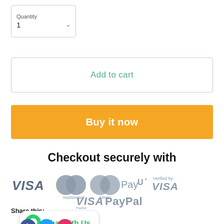Quantity
1
Add to cart
Buy it now
Checkout securely with
[Figure (logo): Payment method logos: VISA, Mastercard, Cirrus, PayU, Verified by VISA, VISA Debit, PayPal]
Share this:
[Figure (infographic): Chat with Us widget with WhatsApp icon]